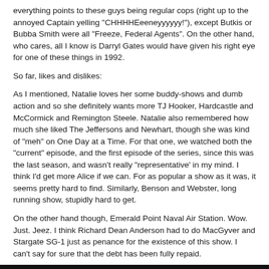everything points to these guys being regular cops (right up to the annoyed Captain yelling "CHHHHEeeneyyyy!"), except Butkis or Bubba Smith were all "Freeze, Federal Agents". On the other hand, who cares, all I know is Darryl Gates would have given his right eye for one of these things in 1992.
So far, likes and dislikes:
As I mentioned, Natalie loves her some buddy-shows and dumb action and so she definitely wants more TJ Hooker, Hardcastle and McCormick and Remington Steele. Natalie also remembered how much she liked The Jeffersons and Newhart, though she was kind of "meh" on One Day at a Time. For that one, we watched both the "current" episode, and the first episode of the series, since this was the last season, and wasn't really "representative' in my mind. I think I'd get more Alice if we can. For as popular a show as it was, it seems pretty hard to find. Similarly, Benson and Webster, long running show, stupidly hard to get.
On the other hand though, Emerald Point Naval Air Station. Wow. Just. Jeez. I think Richard Dean Anderson had to do MacGyver and Stargate SG-1 just as penance for the existence of this show. I can't say for sure that the debt has been fully repaid.
Ripley's Believe it or Not and That's Incredible are kind of hard to find, and that's a shame, since we live in The Future and so it was fun to go look up the people on those shows for a "Where are they Now" running commentary between us.